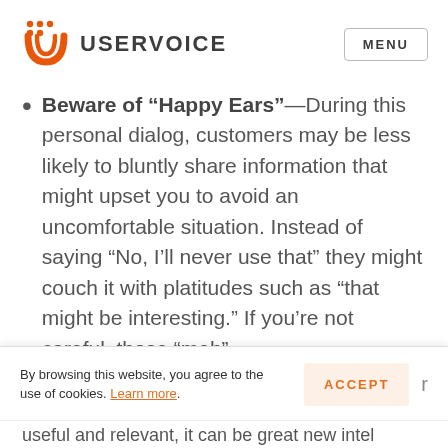USERVOICE  MENU
Beware of “Happy Ears”—During this personal dialog, customers may be less likely to bluntly share information that might upset you to avoid an uncomfortable situation. Instead of saying “No, I’ll never use that” they might couch it with platitudes such as “that might be interesting.” If you’re not careful, those “meh” reactions could lead you astray...
By browsing this website, you agree to the use of cookies. Learn more.
useful and relevant, it can be great new intel...